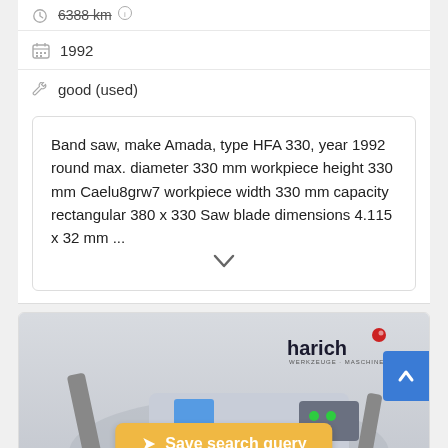6388 km
1992
good (used)
Band saw, make Amada, type HFA 330, year 1992 round max. diameter 330 mm workpiece height 330 mm Caelu8grw7 workpiece width 330 mm capacity rectangular 380 x 330 Saw blade dimensions 4.115 x 32 mm ...
[Figure (photo): Band saw machine (Amada HFA 330) with Harich Werkzeuge Maschinen branding logo in top right corner. A golden 'Save search query' button overlays the center of the image. A blue scroll-to-top button is visible on the right edge.]